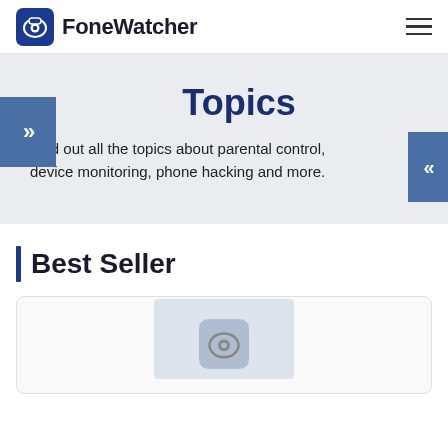FoneWatcher
Topics
Find out all the topics about parental control, device monitoring, phone hacking and more.
Best Seller
[Figure (screenshot): Partial view of a product card at the bottom of the page, showing a grey rectangle with a FoneWatcher logo icon inside.]